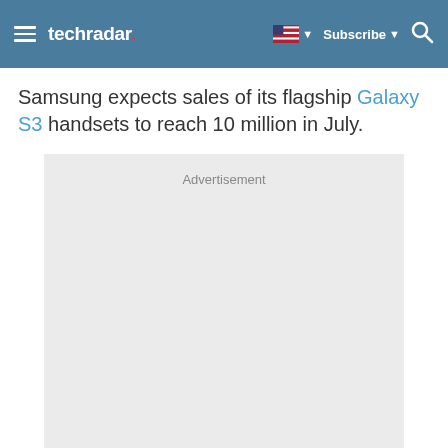techradar
Samsung expects sales of its flagship Galaxy S3 handsets to reach 10 million in July.
[Figure (other): Advertisement placeholder box with gray background and 'Advertisement' label]